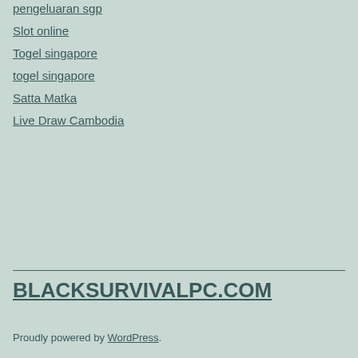pengeluaran sgp
Slot online
Togel singapore
togel singapore
Satta Matka
Live Draw Cambodia
BLACKSURVIVALPC.COM
Proudly powered by WordPress.